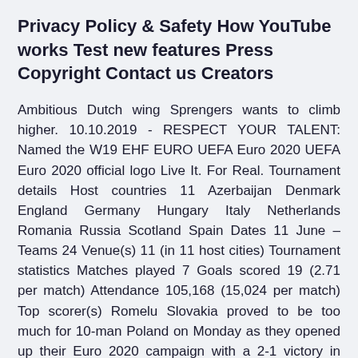Privacy Policy & Safety How YouTube works Test new features Press Copyright Contact us Creators
Ambitious Dutch wing Sprengers wants to climb higher. 10.10.2019 - RESPECT YOUR TALENT: Named the W19 EHF EURO UEFA Euro 2020 UEFA Euro 2020 official logo Live It. For Real. Tournament details Host countries 11 Azerbaijan Denmark England Germany Hungary Italy Netherlands Romania Russia Scotland Spain Dates 11 June – Teams 24 Venue(s) 11 (in 11 host cities) Tournament statistics Matches played 7 Goals scored 19 (2.71 per match) Attendance 105,168 (15,024 per match) Top scorer(s) Romelu Slovakia proved to be too much for 10-man Poland on Monday as they opened up their Euro 2020 campaign with a 2-1 victory in Group E action from St. Petersburg.